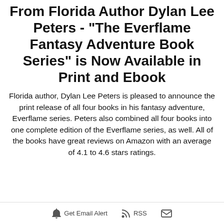From Florida Author Dylan Lee Peters - "The Everflame Fantasy Adventure Book Series" is Now Available in Print and Ebook
Florida author, Dylan Lee Peters is pleased to announce the print release of all four books in his fantasy adventure, Everflame series. Peters also combined all four books into one complete edition of the Everflame series, as well. All of the books have great reviews on Amazon with an average of 4.1 to 4.6 stars ratings.
Get Email Alert   RSS